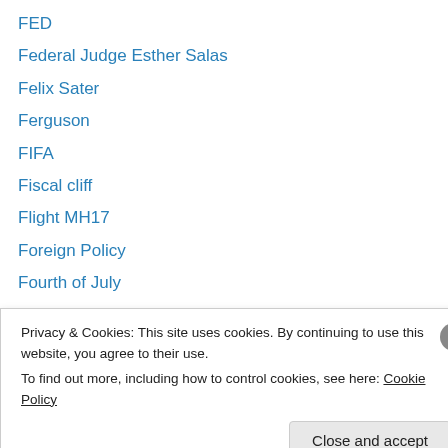FED
Federal Judge Esther Salas
Felix Sater
Ferguson
FIFA
Fiscal cliff
Flight MH17
Foreign Policy
Fourth of July
FRANCE
Fred C Trump
FREEDOM
freedom of the press
Privacy & Cookies: This site uses cookies. By continuing to use this website, you agree to their use.
To find out more, including how to control cookies, see here: Cookie Policy
Close and accept